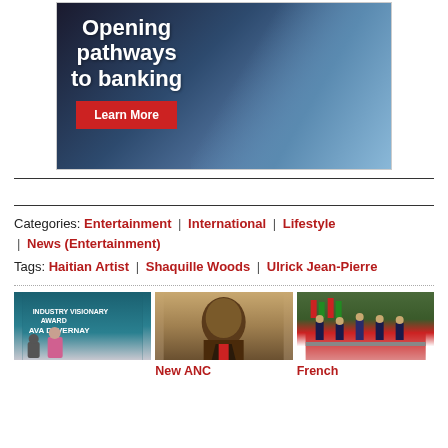[Figure (photo): Bank advertisement with child using tablet. Text: 'Opening pathways to banking'. Red 'Learn More' button. 'Member FDIC.' text.]
Categories: Entertainment | International | Lifestyle | News (Entertainment)
Tags: Haitian Artist | Shaquille Woods | Ulrick Jean-Pierre
[Figure (photo): Industry Visionary Award — Ava DuVernay event photo]
[Figure (photo): New ANC — portrait of African political figure]
New ANC
[Figure (photo): French — military/ceremonial parade scene with flags]
French